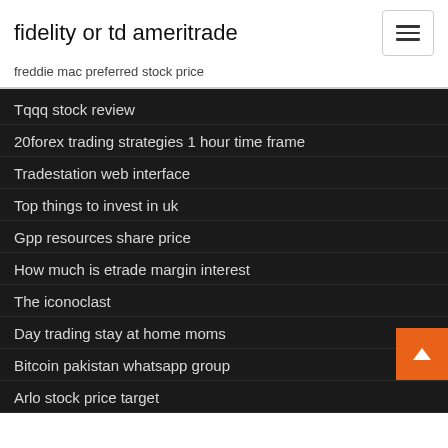fidelity or td ameritrade
freddie mac preferred stock price
Tqqq stock review
20forex trading strategies 1 hour time frame
Tradestation web interface
Top things to invest in uk
Gpp resources share price
How much is etrade margin interest
The iconoclast
Day trading stay at home moms
Bitcoin pakistan whatsapp group
Arlo stock price target